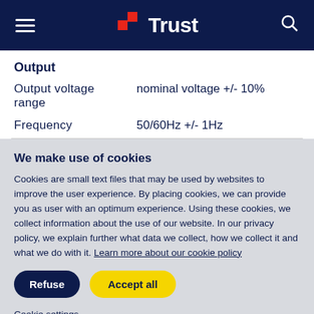Trust
| Output |  |
| Output voltage range | nominal voltage +/- 10% |
| Frequency | 50/60Hz +/- 1Hz |
We make use of cookies
Cookies are small text files that may be used by websites to improve the user experience. By placing cookies, we can provide you as user with an optimum experience. Using these cookies, we collect information about the use of our website. In our privacy policy, we explain further what data we collect, how we collect it and what we do with it. Learn more about our cookie policy
Refuse | Accept all
Cookie settings